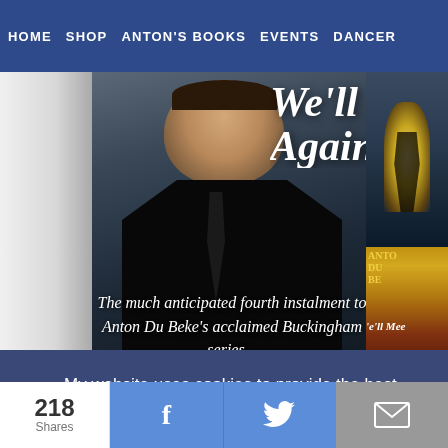HOME   SHOP   ANTON'S BOOKS   EVENTS   DANCER
[Figure (photo): Hero banner for Anton Du Beke's website showing a man in a black suit on a dark blue background with italic script title text 'We'll Meet Again' and tagline 'The much anticipated fourth instalment to Anton Du Beke's acclaimed Buckingham series...' alongside a book cover thumbnail]
My website uses cookies to provide the best experience for your visit.  Learn more
Disable
Allow
218
Shares